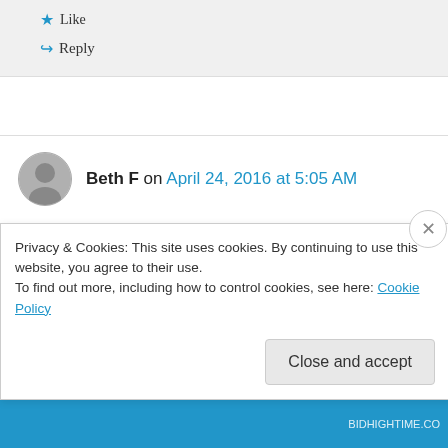★ Like
↪ Reply
Beth F on April 24, 2016 at 5:05 AM
I love this kind of family holiday dishes — the kind of thing you'd likely never eat *except* it's
Privacy & Cookies: This site uses cookies. By continuing to use this website, you agree to their use.
To find out more, including how to control cookies, see here: Cookie Policy
Close and accept